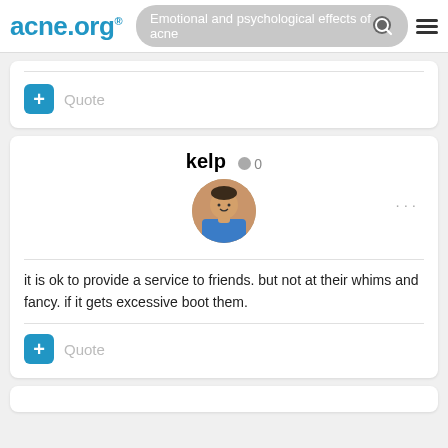acne.org — Emotional and psychological effects of acne
[Figure (screenshot): Partial forum post card with a Quote button (blue plus icon)]
kelp  0
[Figure (photo): Circular avatar photo of a young child in a blue outfit]
it is ok to provide a service to friends. but not at their whims and fancy. if it gets excessive boot them.
Quote
[Figure (screenshot): Partial bottom forum card (cropped)]